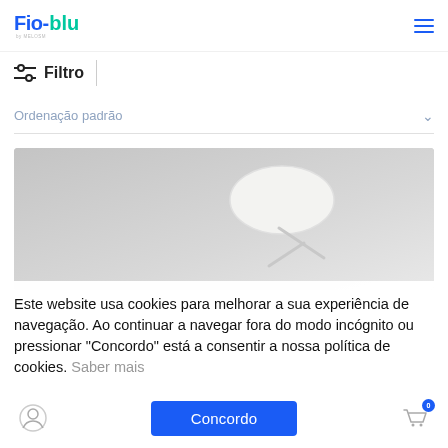[Figure (logo): Fio-blu brand logo in blue and teal/green colors]
⚙ Filtro
Ordenação padrão
[Figure (photo): White wireless earbuds/earphones product on light gray background]
Este website usa cookies para melhorar a sua experiência de navegação. Ao continuar a navegar fora do modo incógnito ou pressionar "Concordo" está a consentir a nossa política de cookies. Saber mais
[Figure (screenshot): Cookie consent banner with Concordo button and user/cart icons]